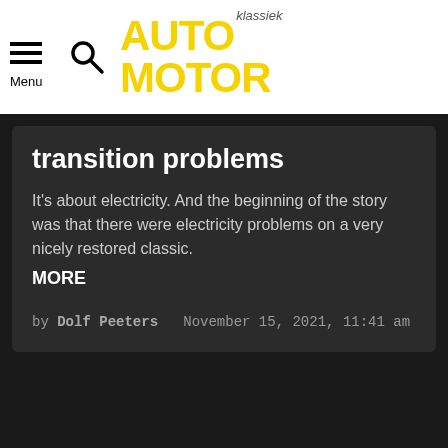Menu | AUTO MOTOR klassiek
transition problems
It's about electricity. And the beginning of the story was that there were electricity problems on a very nicely restored classic. MORE
by Dolf Peeters  November 15, 2021, 11:41 am